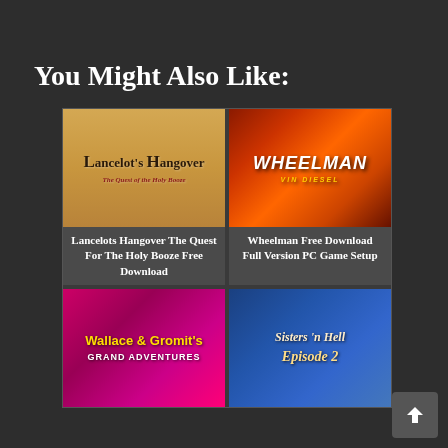You Might Also Like:
[Figure (photo): Lancelot's Hangover - The Quest of the Holy Booze game cover, parchment background with stylized medieval text]
Lancelots Hangover The Quest For The Holy Booze Free Download
[Figure (photo): Wheelman PC game cover, action game with fire and man in black t-shirt with WHEELMAN logo]
Wheelman Free Download Full Version PC Game Setup
[Figure (photo): Wallace & Gromit's Grand Adventures game cover, bright pink background with animated characters]
[Figure (photo): Sisters in Hell Episode 2 game cover, blue toned cover with stylized italic title text]